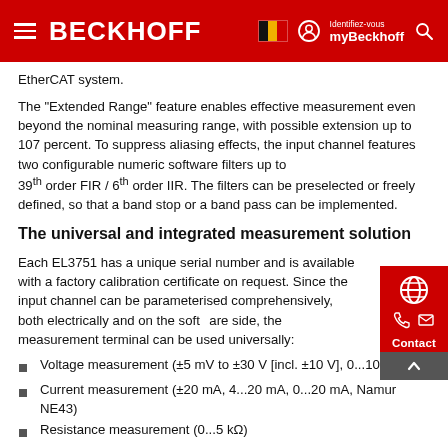BECKHOFF — Navigation header with hamburger menu, Belgium flag, user icon, myBeckhoff label, and search icon
EtherCAT system.
The "Extended Range" feature enables effective measurement even beyond the nominal measuring range, with possible extension up to 107 percent. To suppress aliasing effects, the input channel features two configurable numeric software filters up to 39th order FIR / 6th order IIR. The filters can be preselected or freely defined, so that a band stop or a band pass can be implemented.
The universal and integrated measurement solution
Each EL3751 has a unique serial number and is available with a factory calibration certificate on request. Since the input channel can be parameterised comprehensively, both electrically and on the software side, the measurement terminal can be used universally:
Voltage measurement (±5 mV to ±30 V [incl. ±10 V], 0...10 V, 0...
Current measurement (±20 mA, 4...20 mA, 0...20 mA, Namur NE43)
Resistance measurement (0...5 kΩ)
Electrical resistance R in 2-/3-/4-wire connection